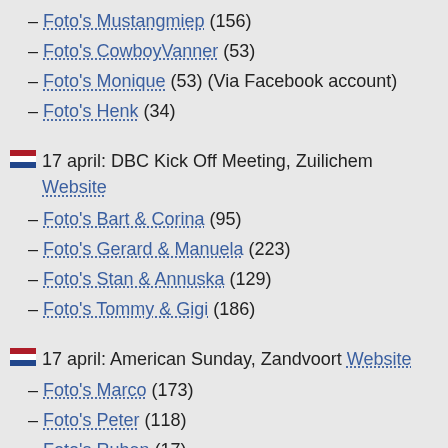– Foto's Mustangmiep (156)
– Foto's CowboyVanner (53)
– Foto's Monique (53) (Via Facebook account)
– Foto's Henk (34)
17 april: DBC Kick Off Meeting, Zuilichem Website
– Foto's Bart & Corina (95)
– Foto's Gerard & Manuela (223)
– Foto's Stan & Annuska (129)
– Foto's Tommy & Gigi (186)
17 april: American Sunday, Zandvoort Website
– Foto's Marco (173)
– Foto's Peter (118)
– Foto's Ruben (17)
– Foto's Jordy (17) & Foto's Jordy (73)